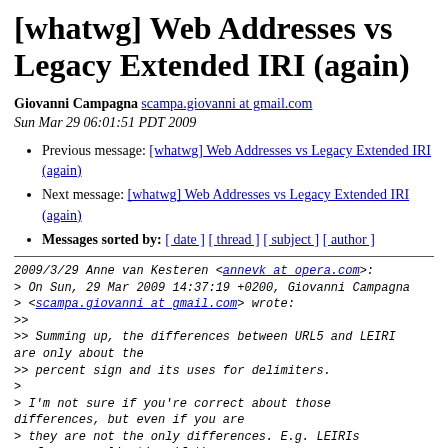[whatwg] Web Addresses vs Legacy Extended IRI (again)
Giovanni Campagna scampa.giovanni at gmail.com
Sun Mar 29 06:01:51 PDT 2009
Previous message: [whatwg] Web Addresses vs Legacy Extended IRI (again)
Next message: [whatwg] Web Addresses vs Legacy Extended IRI (again)
Messages sorted by: [ date ] [ thread ] [ subject ] [ author ]
2009/3/29 Anne van Kesteren <annevk at opera.com>:
> On Sun, 29 Mar 2009 14:37:19 +0200, Giovanni Campagna
> <scampa.giovanni at gmail.com> wrote:
>>
>> Summing up, the differences between URL5 and LEIRI are only about the
>> percent sign and its uses for delimiters.
>
> I'm not sure if you're correct about those differences, but even if you are
> they are not the only differences. E.g. LEIRIs perform normalization if the